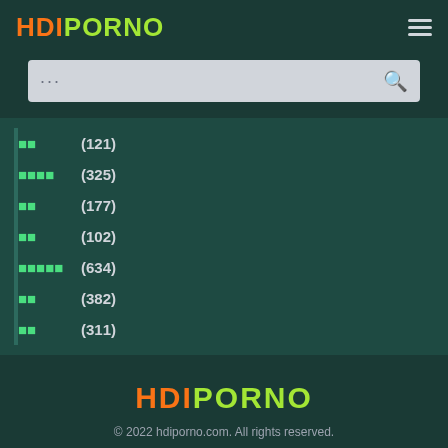HDIPORNO
■■ (121)
■■■■ (325)
■■ (177)
■■ (102)
■■■■■ (634)
■■ (382)
■■ (311)
HDIPORNO © 2022 hdiporno.com. All rights reserved. Support